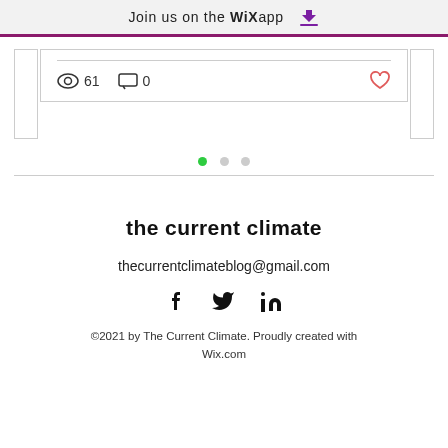Join us on the WiX app
[Figure (screenshot): Blog post card showing eye icon with count 61, comment icon with count 0, and heart icon. Carousel dots below showing 3 dots with first active (green).]
the current climate
thecurrentclimateblog@gmail.com
[Figure (infographic): Social media icons: Facebook, Twitter, LinkedIn]
©2021 by The Current Climate. Proudly created with Wix.com